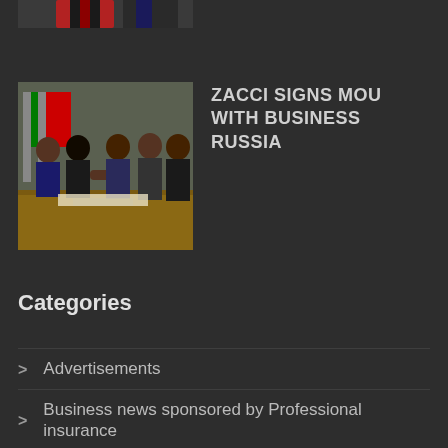[Figure (photo): Partial photo at top showing two people in suits, cropped at bottom of frame]
[Figure (photo): Group photo of people in a meeting room, signing an MOU, with flags in background]
ZACCI SIGNS MOU WITH BUSINESS RUSSIA
Categories
Advertisements
Business news sponsored by Professional insurance
Business Opportunities
Business Training
Chamber Spotlight
Commodities by Briefcase Trader